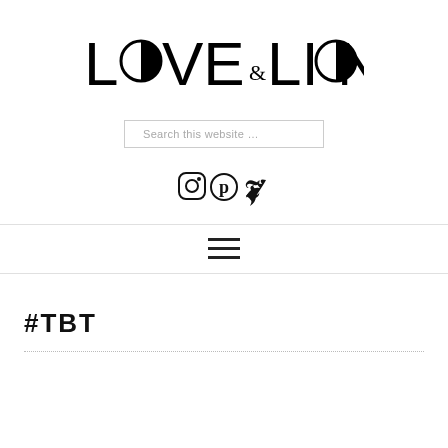[Figure (logo): Love & Lion logo with stylized circular half-black half-white O letters replacing the O in LOVE and LION, with an ampersand between]
Search this website …
[Figure (illustration): Social media icons: Instagram, Pinterest, Twitter]
[Figure (illustration): Hamburger menu icon (three horizontal lines)]
#TBT